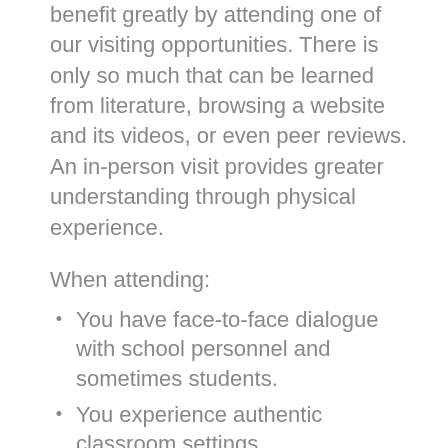benefit greatly by attending one of our visiting opportunities. There is only so much that can be learned from literature, browsing a website and its videos, or even peer reviews. An in-person visit provides greater understanding through physical experience.
When attending:
You have face-to-face dialogue with school personnel and sometimes students.
You experience authentic classroom settings.
You learn more about the curriculum and will be able to differentiate between Hershey Montessori School and other school options.
You gain a clearer understanding of